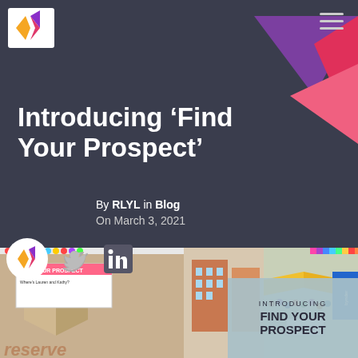[Figure (logo): RLYL diamond/arrow logo in orange, pink, and purple colors, top-left corner]
[Figure (illustration): Geometric triangle shapes in purple, magenta/red, and pink decorating top-right corner of header]
Introducing ‘Find Your Prospect’
By RLYL in Blog
On March 3, 2021
[Figure (illustration): Social sharing icons: RLYL circular logo, Twitter bird icon, LinkedIn icon]
[Figure (illustration): Isometric video-game style cityscape/town scene with colorful buildings, crowd of people, and brand logos including Seismic and Bynder]
INTRODUCING
FIND YOUR
PROSPECT